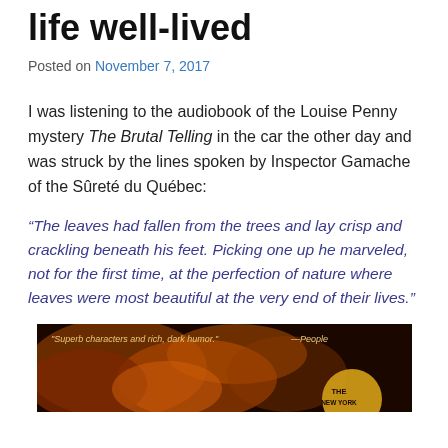life well-lived
Posted on November 7, 2017
I was listening to the audiobook of the Louise Penny mystery The Brutal Telling in the car the other day and was struck by the lines spoken by Inspector Gamache of the Sûreté du Québec:
“The leaves had fallen from the trees and lay crisp and crackling beneath his feet. Picking one up he marveled, not for the first time, at the perfection of nature where leaves were most beautiful at the very end of their lives.”
[Figure (photo): Book cover of The Brutal Telling by Louise Penny. Dark background with autumn leaves, text reads 'Superb characters and rich, dark humor.' —People, THE NEW YORK]